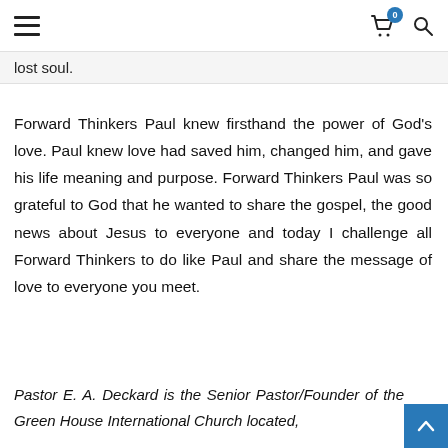≡  🛒⁰  🔍
lost soul.
Forward Thinkers Paul knew firsthand the power of God's love. Paul knew love had saved him, changed him, and gave his life meaning and purpose. Forward Thinkers Paul was so grateful to God that he wanted to share the gospel, the good news about Jesus to everyone and today I challenge all Forward Thinkers to do like Paul and share the message of love to everyone you meet.
Pastor E. A. Deckard is the Senior Pastor/Founder of the Green House International Church located,